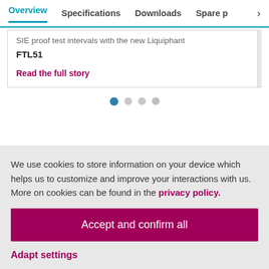Overview | Specifications | Downloads | Spare p >
SIE proof test intervals with the new Liquiphant FTL51
Read the full story
[Figure (other): Carousel dot indicators: 4 dots, first one filled/active (blue), remaining 3 are light grey]
We use cookies to store information on your device which helps us to customize and improve your interactions with us. More on cookies can be found in the privacy policy.
Accept and confirm all
Adapt settings